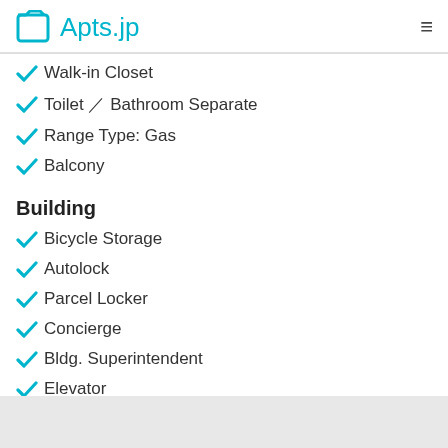Apts.jp
Walk-in Closet
Toilet / Bathroom Separate
Range Type: Gas
Balcony
Building
Bicycle Storage
Autolock
Parcel Locker
Concierge
Bldg. Superintendent
Elevator